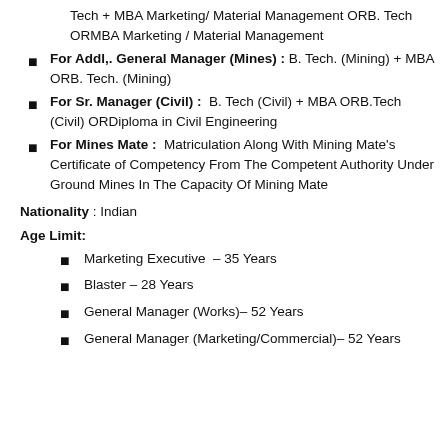Tech + MBA Marketing/ Material Management ORB. Tech ORMBA Marketing / Material Management
For Addl,. General Manager (Mines) : B. Tech. (Mining) + MBA ORB. Tech. (Mining)
For Sr. Manager (Civil) : B. Tech (Civil) + MBA ORB.Tech (Civil) ORDiploma in Civil Engineering
For Mines Mate : Matriculation Along With Mining Mate's Certificate of Competency From The Competent Authority Under Ground Mines In The Capacity Of Mining Mate
Nationality : Indian
Age Limit:
Marketing Executive – 35 Years
Blaster – 28 Years
General Manager (Works)– 52 Years
General Manager (Marketing/Commercial)– 52 Years